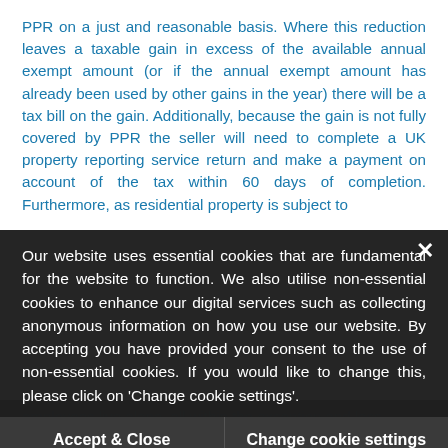PPR on a just and reasonable basis. Where this reduction leaves a taxable gain in excess of the available annual exempt amount (or if the annual exempt amount has already been used by other gains in the year) there will be a tax bill on the gain. Additionally, because the gain is not fully covered by PPR the seller will need to complete a UK property reporting service return and make a payment on account of the tax within 60 days of completion. Furthermore, as residential property is subject to
Our website uses essential cookies that are fundamental for the website to function. We also utilise non-essential cookies to enhance our digital services such as collecting anonymous information on how you use our website. By accepting you have provided your consent to the use of non-essential cookies. If you would like to change this, please click on 'Change cookie settings'.